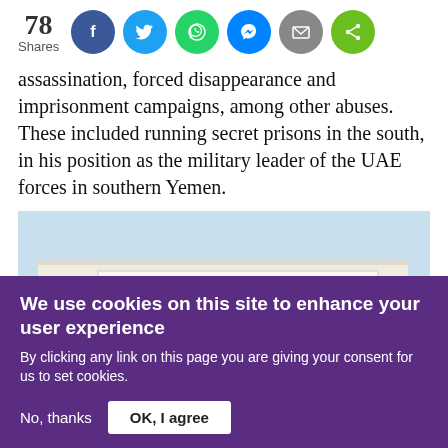78 Shares
assassination, forced disappearance and imprisonment campaigns, among other abuses. These included running secret prisons in the south, in his position as the military leader of the UAE forces in southern Yemen.
[Figure (photo): Photo of a building sign reading 'السجن المركزي CENTRAL PRISON' against a light blue sky]
We use cookies on this site to enhance your user experience
By clicking any link on this page you are giving your consent for us to set cookies.
No, thanks  OK, I agree